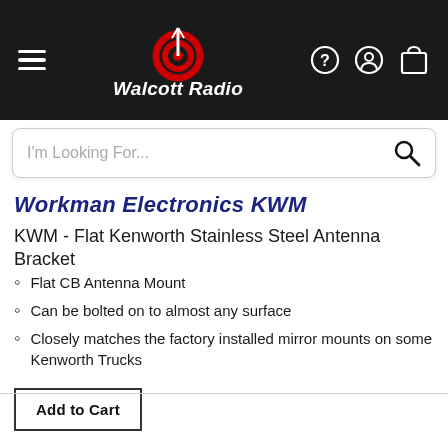Walcott Radio
Workman Electronics KWM
KWM - Flat Kenworth Stainless Steel Antenna Bracket
Flat CB Antenna Mount
Can be bolted on to almost any surface
Closely matches the factory installed mirror mounts on some Kenworth Trucks